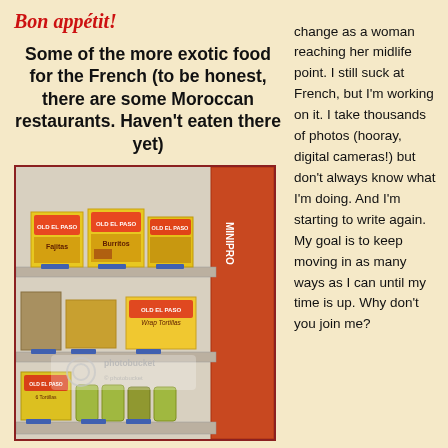Bon appétit!
Some of the more exotic food for the French (to be honest, there are some Moroccan restaurants.  Haven't eaten there yet)
[Figure (photo): A supermarket shelf display of Old El Paso Mexican food products including Fajitas and Burritos kits, with a Photobucket watermark on the image]
change as a woman reaching her midlife point. I still suck at French, but I'm working on it. I take thousands of photos (hooray, digital cameras!) but don't always know what I'm doing. And I'm starting to write again. My goal is to keep moving in as many ways as I can until my time is up. Why don't you join me?